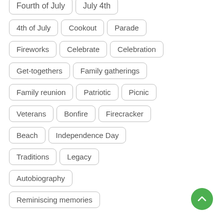Fourth of July
July 4th
4th of July
Cookout
Parade
Fireworks
Celebrate
Celebration
Get-togethers
Family gatherings
Family reunion
Patriotic
Picnic
Veterans
Bonfire
Firecracker
Beach
Independence Day
Traditions
Legacy
Autobiography
Reminiscing memories